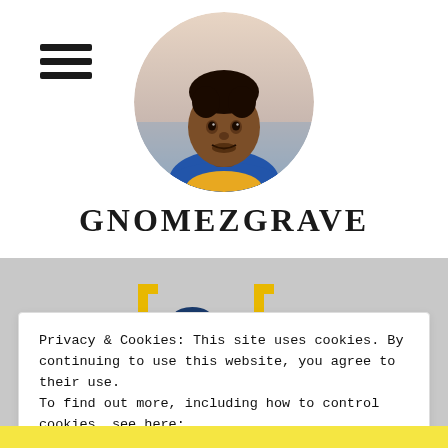[Figure (illustration): Hamburger menu icon (three horizontal lines) in top left corner]
[Figure (photo): Circular cropped profile photo of a young man wearing a blue and yellow shirt, outdoor background with water/sky]
GNOMEZGRAVE
[Figure (logo): G2 logo with yellow bracket and dark blue G2 text, and a gaming controller icon with yellow bracket, on grey banner background]
Privacy & Cookies: This site uses cookies. By continuing to use this website, you agree to their use.
To find out more, including how to control cookies, see here:
Cookie Policy
Close and accept